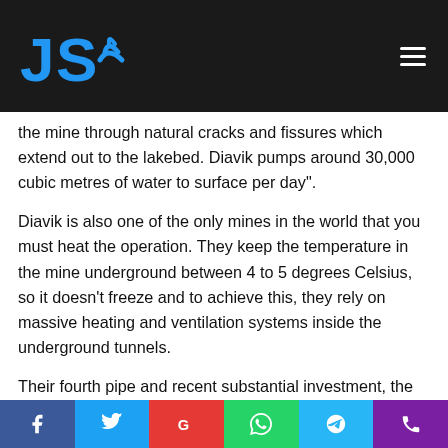JS [logo with wifi icon]
the mine through natural cracks and fissures which extend out to the lakebed. Diavik pumps around 30,000 cubic metres of water to surface per day".
Diavik is also one of the only mines in the world that you must heat the operation. They keep the temperature in the mine underground between 4 to 5 degrees Celsius, so it doesn't freeze and to achieve this, they rely on massive heating and ventilation systems inside the underground tunnels.
Their fourth pipe and recent substantial investment, the A21 pipe, is very close to the other three pipes and is the smallest of the four pipes. The A21 pipe is being mined as an open pit
f | t | G | WhatsApp | Telegram | Phone